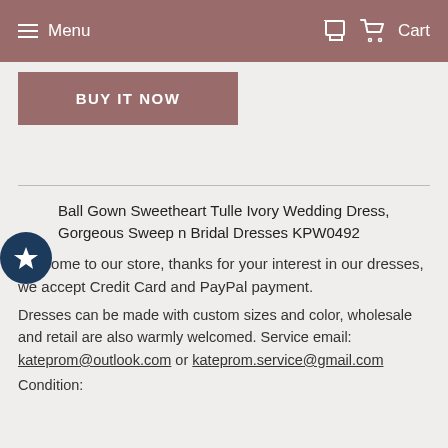Menu   Cart
[Figure (other): BUY IT NOW button (mauve/rose color)]
Ball Gown Sweetheart Tulle Ivory Wedding Dress, Gorgeous Sweep n Bridal Dresses KPW0492
Welcome to our store, thanks for your interest in our dresses, we accept Credit Card and PayPal payment.
Dresses can be made with custom sizes and color, wholesale and retail are also warmly welcomed. Service email: kateprom@outlook.com or kateprom.service@gmail.com
Condition: